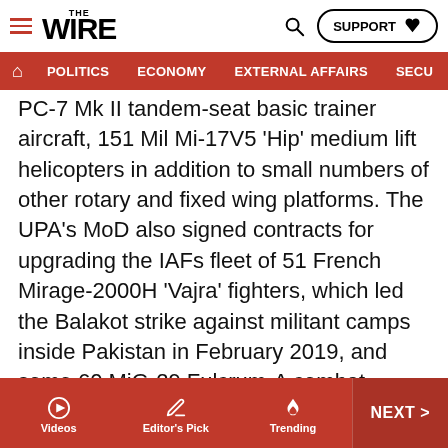THE WIRE - Navigation header with Politics, Economy, External Affairs, Secu...
PC-7 Mk II tandem-seat basic trainer aircraft, 151 Mil Mi-17V5 'Hip' medium lift helicopters in addition to small numbers of other rotary and fixed wing platforms. The UPA's MoD also signed contracts for upgrading the IAFs fleet of 51 French Mirage-2000H 'Vajra' fighters, which led the Balakot strike against militant camps inside Pakistan in February 2019, and some 60 MiG-29 Fulcrum-A combat platforms, both of which have not yet been fully completed.
The Indian Navy (IN), on the other hand, under the UPA administration acquired eight P-8I Poseidon multi-mission maritime reconnaissance aircraft with anti-submarine warfare capability and 28 warships like INS Vikramaditya
Videos | Editor's Pick | Trending | NEXT >